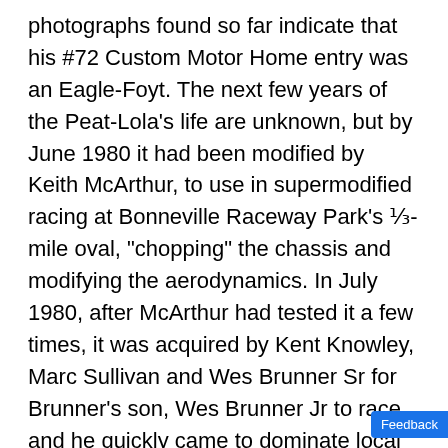photographs found so far indicate that his #72 Custom Motor Home entry was an Eagle-Foyt. The next few years of the Peat-Lola's life are unknown, but by June 1980 it had been modified by Keith McArthur, to use in supermodified racing at Bonneville Raceway Park's ⅓-mile oval, "chopping" the chassis and modifying the aerodynamics. In July 1980, after McArthur had tested it a few times, it was acquired by Kent Knowley, Marc Sullivan and Wes Brunner Sr for Brunner's son, Wes Brunner Jr to race, and he quickly came to dominate local Salt Lake Valley Racing Association events. Brunner crashed the car heavily in early July 1981, but it was rebuilt by Knowley and Sullivan, and raced again in August. Brunner continued to race the car in 1982. After Brunner died in early 1984, the car was raced for Knowley and Sullivan by Jeff Nish, who set a new